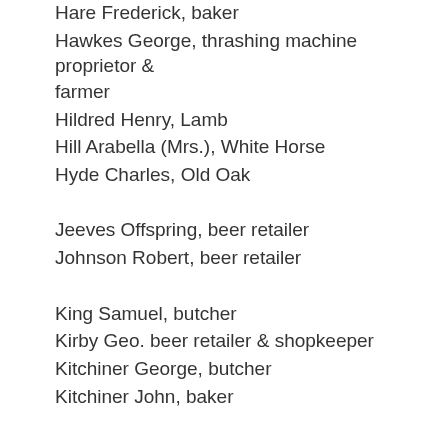Hare Frederick, baker
Hawkes George, thrashing machine proprietor & farmer
Hildred Henry, Lamb
Hill Arabella (Mrs.), White Horse
Hyde Charles, Old Oak
Jeeves Offspring, beer retailer
Johnson Robert, beer retailer
King Samuel, butcher
Kirby Geo. beer retailer & shopkeeper
Kitchiner George, butcher
Kitchiner John, baker